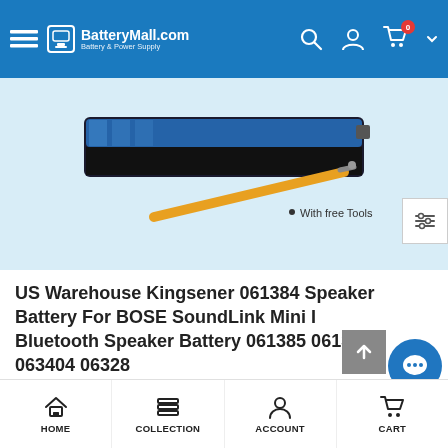BatterMall.com Battery & Power Supply
[Figure (photo): Product photo of a battery with a screwdriver tool included, shown on a light blue background. Text reads: With free Tools]
US Warehouse Kingsener 061384 Speaker Battery For BOSE SoundLink Mini I Bluetooth Speaker Battery 061385 061386 063404 06328
Free shipping on US warehouses! Specification: Battery Model: 061384 Capacity:  2230mAh/17WH  Voltage: 7.4V Battery Type: Li-ion  Color:Black  Cell:2 Cells ,made in Korea  Condition:Replacement Battery  (100% Brand
HOME  COLLECTION  ACCOUNT  CART